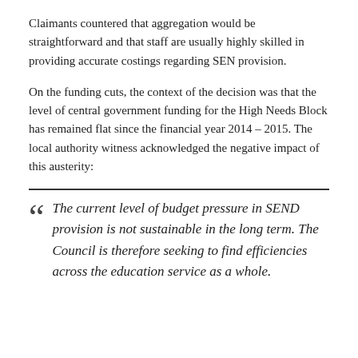Claimants countered that aggregation would be straightforward and that staff are usually highly skilled in providing accurate costings regarding SEN provision.
On the funding cuts, the context of the decision was that the level of central government funding for the High Needs Block has remained flat since the financial year 2014 – 2015. The local authority witness acknowledged the negative impact of this austerity:
The current level of budget pressure in SEND provision is not sustainable in the long term. The Council is therefore seeking to find efficiencies across the education service as a whole.